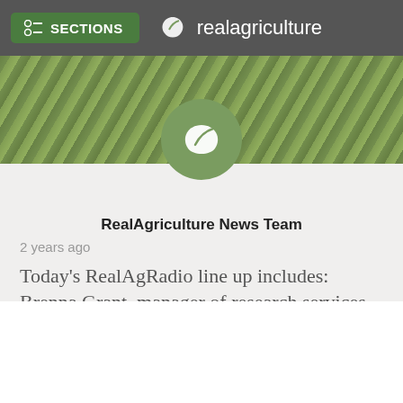SECTIONS | realagriculture
[Figure (photo): Green grass/crop field hero photo banner]
[Figure (logo): RealAgriculture circular logo with white leaf icon on green background]
RealAgriculture News Team
2 years ago
Today's RealAgRadio line up includes: Brenna Grant, manager of research services for CanFax, to explain beef export numbers in light of the U.S.